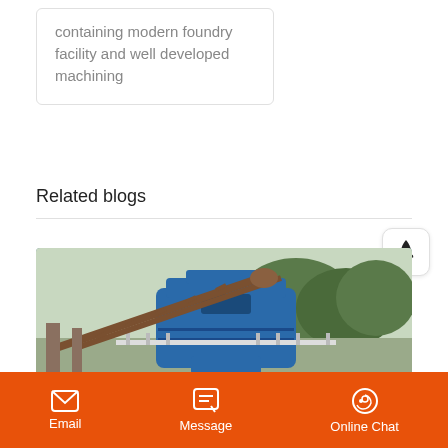containing modern foundry facility and well developed machining
Related blogs
[Figure (photo): Industrial machinery with a blue cone crusher and steel conveyor frame structure, with trees in the background.]
Email | Message | Online Chat